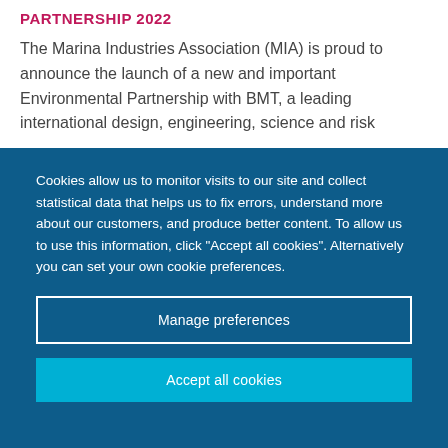PARTNERSHIP 2022
The Marina Industries Association (MIA) is proud to announce the launch of a new and important Environmental Partnership with BMT, a leading international design, engineering, science and risk
Cookies allow us to monitor visits to our site and collect statistical data that helps us to fix errors, understand more about our customers, and produce better content. To allow us to use this information, click "Accept all cookies". Alternatively you can set your own cookie preferences.
Manage preferences
Accept all cookies